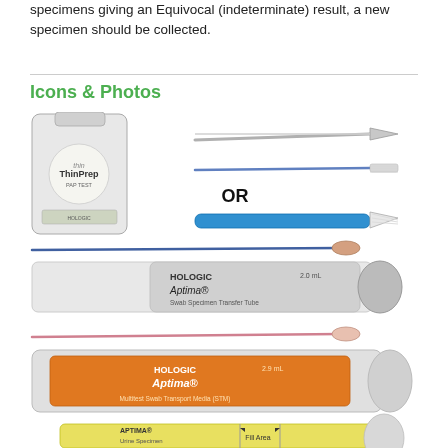specimens giving an Equivocal (indeterminate) result, a new specimen should be collected.
Icons & Photos
[Figure (photo): Medical specimen collection items including ThinPrep vial, Hologic Aptima swab transfer tube (2.0 mL), Hologic Aptima Multitest Swab Transport Media (STM 2.9 mL) with pink swab, Aptima Urine Specimen Transport Tube, and various collection swabs (spatula, endocervical brush, broom-type) with OR label between groups.]